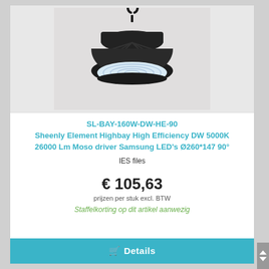[Figure (photo): LED highbay industrial light fixture (UFO-style) with black housing, suspended from a hook, showing circular lens on bottom, photographed against a light grey background.]
SL-BAY-160W-DW-HE-90
Sheenly Element Highbay High Efficiency DW 5000K
26000 Lm Moso driver Samsung LED's Ø260*147 90°
IES files
€ 105,63
prijzen per stuk excl. BTW
Staffelkorting op dit artikel aanwezig
Details